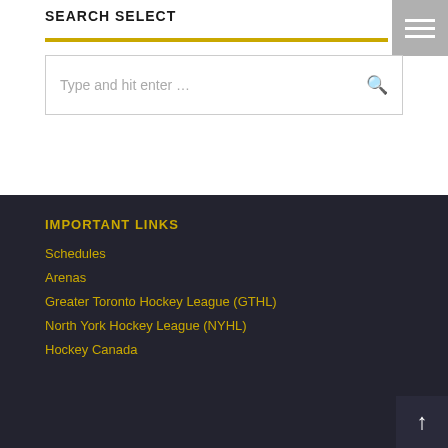SEARCH SELECT
[Figure (screenshot): Search input box with placeholder text 'Type and hit enter ...' and a search icon on the right]
IMPORTANT LINKS
Schedules
Arenas
Greater Toronto Hockey League (GTHL)
North York Hockey League (NYHL)
Hockey Canada